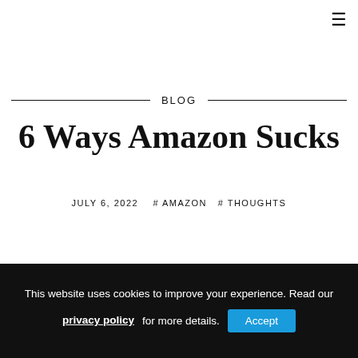☰
BLOG
6 Ways Amazon Sucks
JULY 6, 2022   # AMAZON   # THOUGHTS
FIRST, THE GOOD
This website uses cookies to improve your experience. Read our privacy policy for more details. Accept